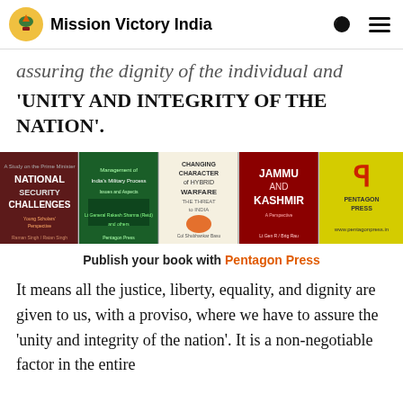Mission Victory India
assuring the dignity of the individual and 'UNITY AND INTEGRITY OF THE NATION'.
[Figure (illustration): Ad banner for Pentagon Press showing four book covers: National Security Challenges, Management of India's Military Process, Changing Character of Hybrid Warfare, Jammu and Kashmir, alongside the Pentagon Press logo and website www.pentagonpress.in]
Publish your book with Pentagon Press
It means all the justice, liberty, equality, and dignity are given to us, with a proviso, where we have to assure the ‘unity and integrity of the nation’. It is a non-negotiable factor in the entire